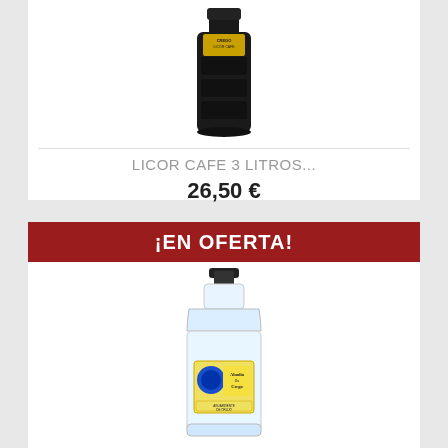[Figure (photo): Dark/black flask-shaped bottle of Licor Cafe 3 litros product with yellow label]
LICOR CAFE 3 LITROS...
26,50 €
¡EN OFERTA!
[Figure (photo): Clear large plastic jug/bottle of Abadia Do Crego Aguardiente de Orujo with blue and yellow label]